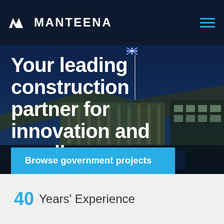MANTEENA
Your leading construction partner for innovation and excellence.
[Figure (photo): Night-time photo of Australian Parliament House in Canberra, illuminated against a deep blue twilight sky, with the flagpole and characteristic architecture visible]
Browse government projects
40  Years' Experience